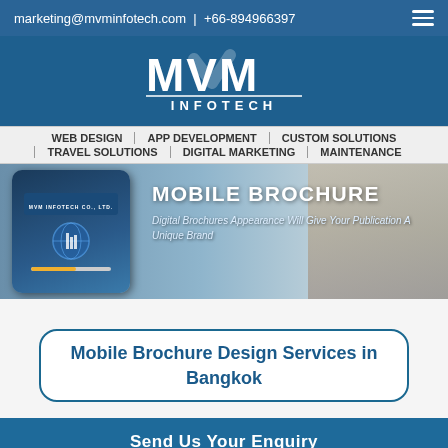marketing@mvminfotech.com | +66-894966397
[Figure (logo): MVM INFOTECH logo in white on dark blue background]
WEB DESIGN | APP DEVELOPMENT | CUSTOM SOLUTIONS | TRAVEL SOLUTIONS | DIGITAL MARKETING | MAINTENANCE
[Figure (photo): Hero banner showing a hand holding a smartphone displaying a mobile brochure app. Text overlay reads: MOBILE BROCHURE - Digital Brochures Appearance Will Give Your Publication A Unique Brand]
Mobile Brochure Design Services in Bangkok
Send Us Your Enquiry